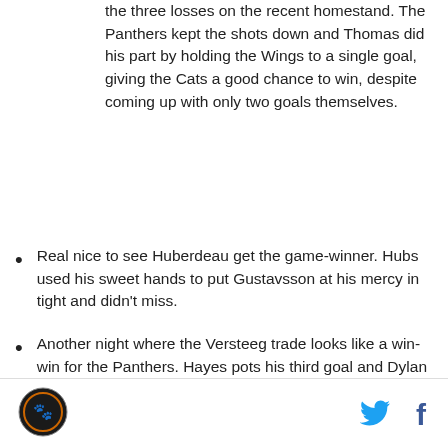the three losses on the recent homestand. The Panthers kept the shots down and Thomas did his part by holding the Wings to a single goal, giving the Cats a good chance to win, despite coming up with only two goals themselves.
Real nice to see Huberdeau get the game-winner. Hubs used his sweet hands to put Gustavsson at his mercy in tight and didn't miss.
Another night where the Versteeg trade looks like a win-win for the Panthers. Hayes pots his third goal and Dylan Olsen (who some Blackhawks fans said was too slow and strictly AHL-caliber) now has 4 points in 6 games with Florida. Kris who?
[logo] [twitter] [facebook]